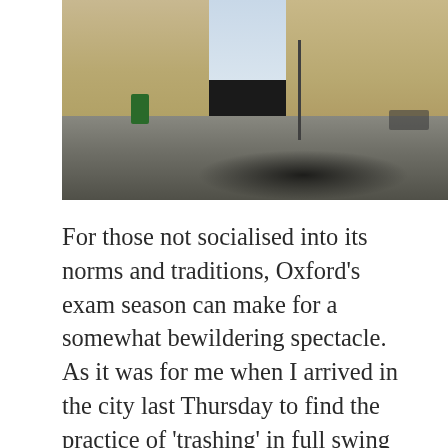[Figure (photo): Street scene in Oxford showing classical stone buildings with columns on the left, a wide empty road, a cyclist in a green jacket, bicycles parked on the right, and a lamppost. The image has strong shadow contrast on the road surface.]
For those not socialised into its norms and traditions, Oxford's exam season can make for a somewhat bewildering spectacle. As it was for me when I arrived in the city last Thursday to find the practice of 'trashing' in full swing outside my hotel. Looking on with bemusement, I was told that it had historically involved the barraging of gown-clad undergraduates with eggs, flower, and even fish entrails as they left their last exams. Though officially now banned by the University, a more